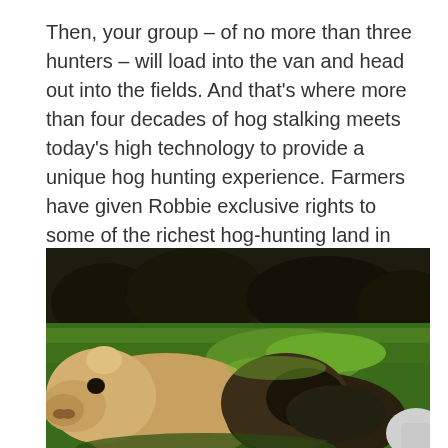Then, your group – of no more than three hunters – will load into the van and head out into the fields. And that's where more than four decades of hog stalking meets today's high technology to provide a unique hog hunting experience. Farmers have given Robbie exclusive rights to some of the richest hog-hunting land in the region – nearly 75,000 acres worth.
[Figure (photo): Outdoor photograph showing wild hogs or pigs lying on green grass with dark wooded treeline in the background. Two or three animals are visible close-up in the foreground.]